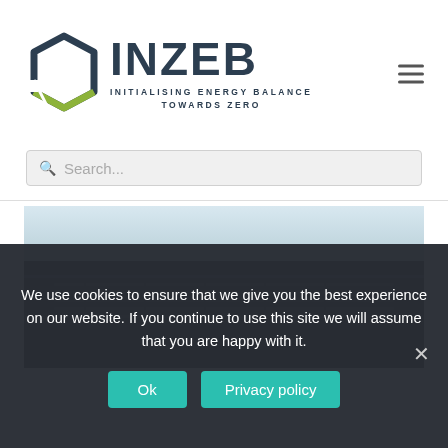[Figure (logo): INZEB logo — hexagonal outline in dark navy and yellow-green with text INZEB and subtitle INITIALISING ENERGY BALANCE TOWARDS ZERO]
Search...
[Figure (photo): Modern building exterior — upper portion shows pale blue sky, lower portion shows dark contemporary architectural structure with glass and steel elements]
We use cookies to ensure that we give you the best experience on our website. If you continue to use this site we will assume that you are happy with it.
Ok
Privacy policy